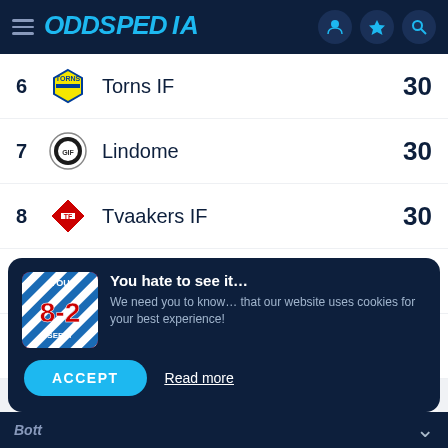ODDSPEDIA
6  Torns IF  30
7  Lindome  30
8  Tvaakers IF  30
9  Lunds BK  26
10  Vanersborgs IF  25
SHOW FULL LIST
You hate to see it... We need you to know... that our website uses cookies for your best experience!
ACCEPT
Read more
BETT
Both